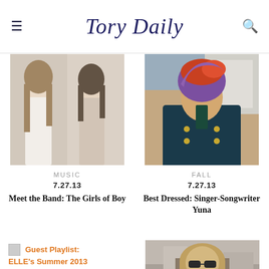Tory Daily
[Figure (photo): Two young women in light-colored dresses posing together - band photo for 'The Girls of Boy']
MUSIC
7.27.13
Meet the Band: The Girls of Boy
[Figure (photo): Young woman wearing a colorful purple and orange head wrap with a dark coat - singer-songwriter Yuna]
FALL
7.27.13
Best Dressed: Singer-Songwriter Yuna
Guest Playlist: ELLE's Summer 2013
[Figure (photo): Woman with long hair wearing sunglasses outdoors]